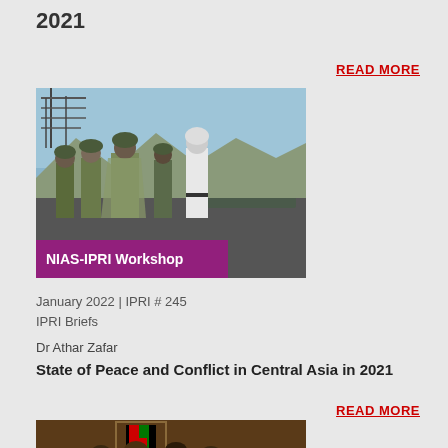2021
READ MORE
[Figure (photo): Military soldiers standing in formation, with one figure in white clothing. Text overlay reads 'NIAS-IPRI Workshop' on a purple background.]
January 2022 | IPRI # 245
IPRI Briefs
Dr Athar Zafar
State of Peace and Conflict in Central Asia in 2021
READ MORE
[Figure (photo): Group of people in a meeting room with Afghan flag, appearing to be Taliban officials or representatives in discussion.]